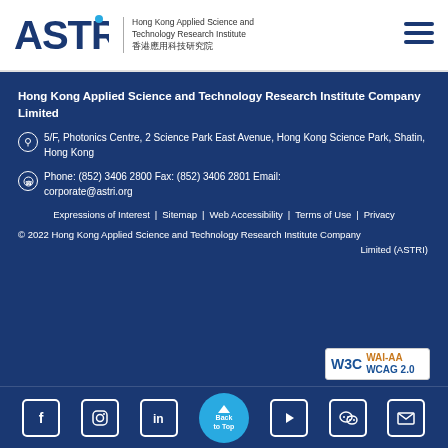[Figure (logo): ASTRI logo with text: Hong Kong Applied Science and Technology Research Institute / 香港應用科技研究院, and hamburger menu icon]
Hong Kong Applied Science and Technology Research Institute Company Limited
5/F, Photonics Centre, 2 Science Park East Avenue, Hong Kong Science Park, Shatin, Hong Kong
Phone: (852) 3406 2800 Fax: (852) 3406 2801 Email: corporate@astri.org
Expressions of Interest | Sitemap | Web Accessibility | Terms of Use | Privacy
© 2022 Hong Kong Applied Science and Technology Research Institute Company Limited (ASTRI)
[Figure (logo): W3C WAI-AA WCAG 2.0 accessibility badge]
[Figure (infographic): Social media icons bar: Facebook, Instagram, LinkedIn, Back to Top button, YouTube, WeChat, Email]